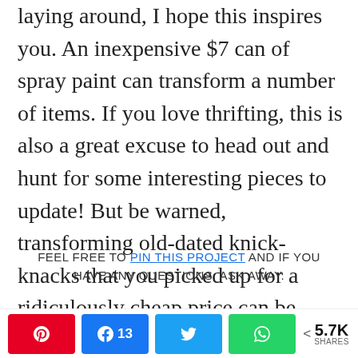laying around, I hope this inspires you. An inexpensive $7 can of spray paint can transform a number of items. If you love thrifting, this is also a great excuse to head out and hunt for some interesting pieces to update! But be warned, transforming old-dated knick-knacks that you picked up for a ridiculously cheap price can be addicting!
FEEL FREE TO PIN THIS PROJECT AND IF YOU HAVE ANY QUESTIONS, ASK AWAY.
SO, WHAT DO YOU THINK OF MY NEW
[Figure (infographic): Social share bar with Pinterest, Facebook (13), Twitter, WhatsApp buttons and 5.7K shares count]